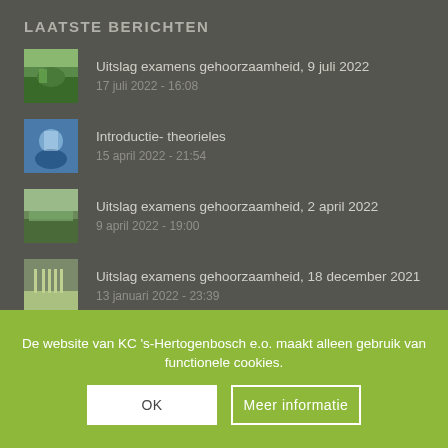LAATSTE BERICHTEN
Uitslag examens gehoorzaamheid, 9 juli 2022
17 juli 2022 - 16:08
Introductie- theorieles
15 april 2022 - 21:54
Uitslag examens gehoorzaamheid, 2 april 2022
9 april 2022 - 19:00
Uitslag examens gehoorzaamheid, 18 december 2021
13 januari 2022 - 23:39
Wéér nieuw corona nieuws!
14 november 2021 - 22:14
De website van KC 's-Hertogenbosch e.o. maakt alleen gebruik van functionele cookies.
OK
Meer informatie